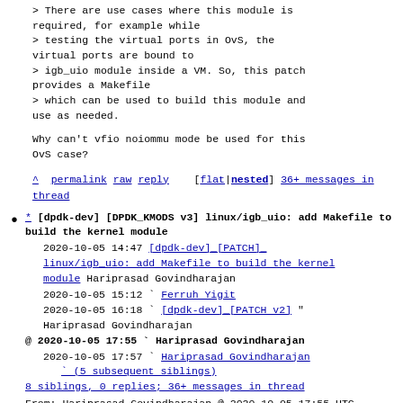> There are use cases where this module is required, for example while
> testing the virtual ports in OvS, the virtual ports are bound to
> igb_uio module inside a VM. So, this patch provides a Makefile
> which can be used to build this module and use as needed.
Why can't vfio noiommu mode be used for this OvS case?
^ permalink raw reply [flat|nested] 36+ messages in thread
* [dpdk-dev] [DPDK_KMODS v3] linux/igb_uio: add Makefile to build the kernel module
2020-10-05 14:47 [dpdk-dev]_[PATCH]_linux/igb_uio: add Makefile to build the kernel module Hariprasad Govindharajan
2020-10-05 15:12 ` Ferruh Yigit
2020-10-05 16:18 ` [dpdk-dev]_[PATCH v2] " Hariprasad Govindharajan
@ 2020-10-05 17:55 ` Hariprasad Govindharajan
2020-10-05 17:57 ` Hariprasad Govindharajan
` (5 subsequent siblings)
8 siblings, 0 replies; 36+ messages in thread
From: Hariprasad Govindharajan @ 2020-10-05 17:55 UTC (permalink / raw)
To: dev; +Cc: ferruh.yigit, Hariprasad Govindharajan